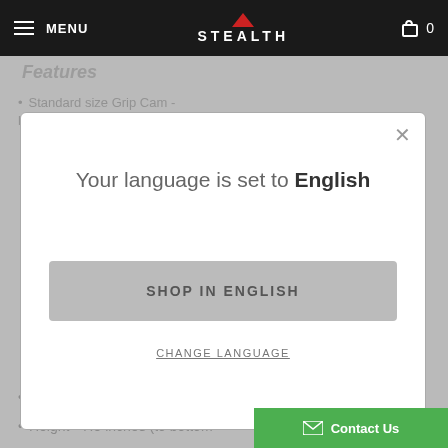MENU  STEALTH  0
Features
Standard size Grip Cam - Handles up to 1 inch in diameter
[Figure (screenshot): Modal dialog box with text 'Your language is set to English', a 'SHOP IN ENGLISH' button, and a 'CHANGE LANGUAGE' link, with an X close button in the top right corner.]
Rod Holder
Length- 6.5 inches
Height - 7.5 inches (to bottom